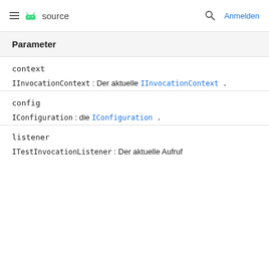≡  source   🔍  Anmelden
| Parameter |
| --- |
| context | IInvocationContext : Der aktuelle IInvocationContext . |
| config | IConfiguration : die IConfiguration . |
| listener | ITestInvocationListener : Der aktuelle Aufruf |